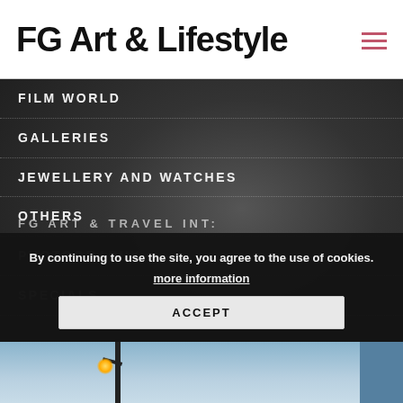FG Art & Lifestyle
FILM WORLD
GALLERIES
JEWELLERY AND WATCHES
OTHERS
PHOTOGRAPHY
SPECIALS
FG ART & TRAVEL INT:
By continuing to use the site, you agree to the use of cookies.
more information
ACCEPT
[Figure (photo): Bottom strip showing a lamp post against a blue sky background]